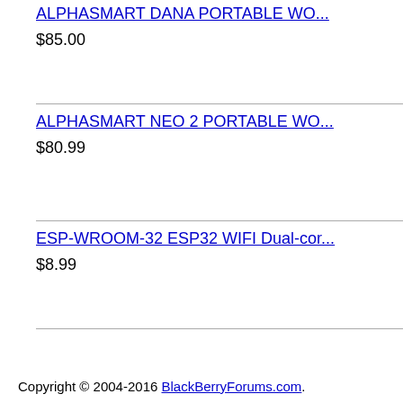ALPHASMART DANA PORTABLE WO…
$85.00
ALPHASMART NEO 2 PORTABLE WO…
$80.99
ESP-WROOM-32 ESP32 WIFI Dual-cor…
$8.99
Copyright © 2004-2016 BlackBerryForums.com.